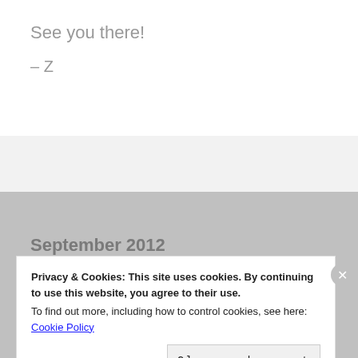See you there!
– Z
September 2012
Privacy & Cookies: This site uses cookies. By continuing to use this website, you agree to their use. To find out more, including how to control cookies, see here: Cookie Policy
Close and accept